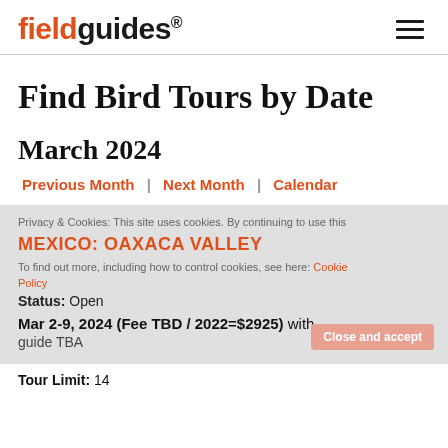fieldguides®
Find Bird Tours by Date
March 2024
Previous Month | Next Month | Calendar
Privacy & Cookies: This site uses cookies. By continuing to use this
MEXICO: OAXACA VALLEY
To find out more, including how to control cookies, see here: Cookie Policy
Status: Open
Mar 2-9, 2024 (Fee TBD / 2022=$2925) with guide TBA
Tour Limit: 14